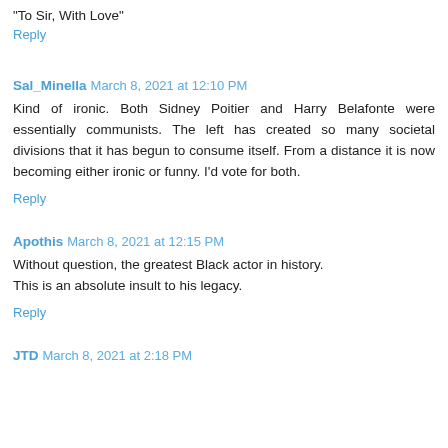"To Sir, With Love"
Reply
Sal_Minella  March 8, 2021 at 12:10 PM
Kind of ironic. Both Sidney Poitier and Harry Belafonte were essentially communists. The left has created so many societal divisions that it has begun to consume itself. From a distance it is now becoming either ironic or funny. I'd vote for both.
Reply
Apothis  March 8, 2021 at 12:15 PM
Without question, the greatest Black actor in history. This is an absolute insult to his legacy.
Reply
JTD  March 8, 2021 at 2:18 PM